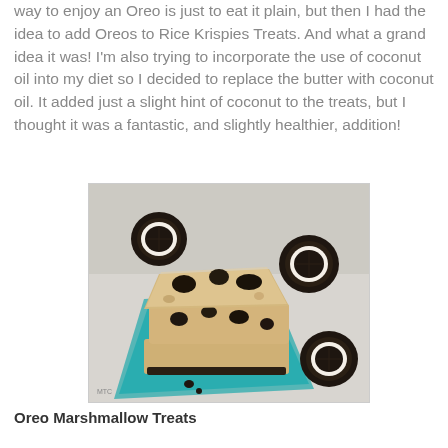way to enjoy an Oreo is just to eat it plain, but then I had the idea to add Oreos to Rice Krispies Treats.  And what a grand idea it was!  I'm also trying to incorporate the use of coconut oil into my diet so I decided to replace the butter with coconut oil.  It added just a slight hint of coconut to the treats, but I thought it was a fantastic, and slightly healthier, addition!
[Figure (photo): Photo of stacked Oreo Rice Krispies Treats bars on a blue napkin with whole Oreo cookies placed around them on a white surface.]
Oreo Marshmallow Treats
Makes 1 9x13" pan, 16-20 servings
Ingredients: